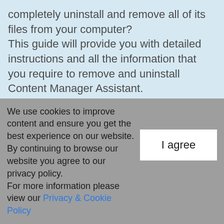completely uninstall and remove all of its files from your computer? This guide will provide you with detailed instructions and all the information that you require to remove and uninstall Content Manager Assistant.
What usually makes people to uninstall Content Manager Assistant
It seems that there are many users who have
We use cookies to improve content and ensure you get the best experience on our website. By continuing to browse our website you agree to our privacy policy. For more information please view our Privacy & Cookie Policy
I agree